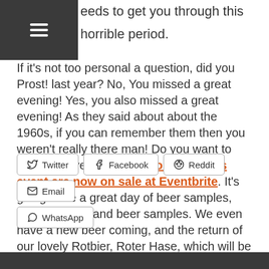eeds to get you through this horrible period.
If it's not too personal a question, did you Prost! last year? No, You missed a great evening! Yes, you also missed a great evening! As they said about about the 1960s, if you can remember them then you weren't really there man! Do you want to Prost! this year? Tickets for this years event are now on sale at Eventbrite. It's going to be a great day of beer samples, leather pants, and beer samples. We even have a new beer coming, and the return of our lovely Rotbier, Roter Hase, which will be available in cans this year for the first time.
Twitter
Facebook
Reddit
Email
WhatsApp